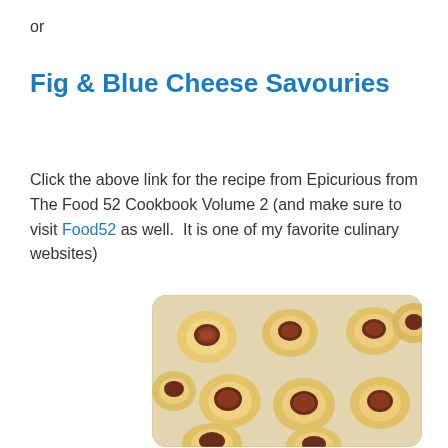or
Fig & Blue Cheese Savouries
Click the above link for the recipe from Epicurious from The Food 52 Cookbook Volume 2 (and make sure to visit Food52 as well.  It is one of my favorite culinary websites)
[Figure (photo): Photo of small round pastry tartlets with fig jam filling arranged on a baking tray, viewed from above]